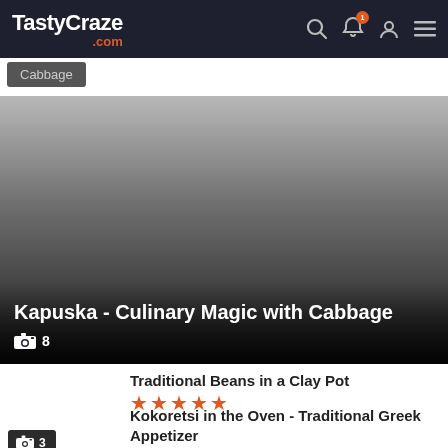TastyCraze.com
Cabbage
[Figure (photo): Large food article card image with dark gradient overlay showing recipe 'Kapuska - Culinary Magic with Cabbage' with camera icon and photo count 8]
Kapuska - Culinary Magic with Cabbage
🎥 8
Traditional Beans in a Clay Pot
★★★★★
🎥 3
Kokoretsi in the Oven - Traditional Greek Appetizer